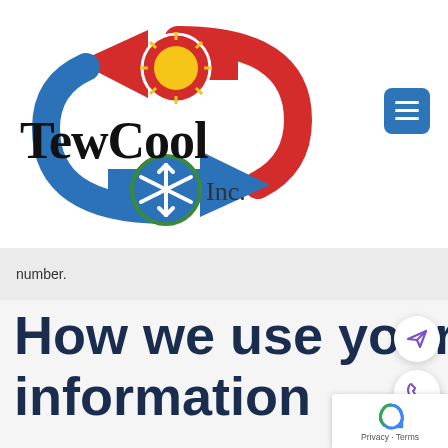[Figure (logo): TewCool Inc. logo with circular arrows in red and blue, sun icon on top, snowflake icon on bottom, with company name 'TewCool Inc.' in bold serif font]
[Figure (other): Hamburger menu button (three horizontal lines) on a blue rounded square background]
number.
How we use your information
[Figure (other): Send/arrow floating button icon in purple]
[Figure (other): Phone floating button icon in purple]
[Figure (other): Google reCAPTCHA badge with Privacy and Terms text]